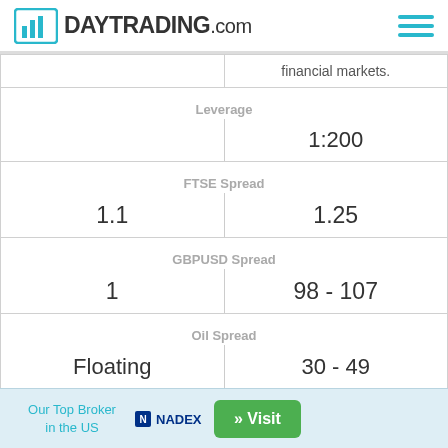DAYTRADING.com
|  |  |
| --- | --- |
|  | financial markets. |
| Leverage |  |
|  | 1:200 |
| FTSE Spread |  |
| 1.1 | 1.25 |
| GBPUSD Spread |  |
| 1 | 98 - 107 |
| Oil Spread |  |
| Floating | 30 - 49 |
| Stocks Spread |  |
| Variable | Variable |
| Forex |  |
Our Top Broker in the US  NADEX  » Visit